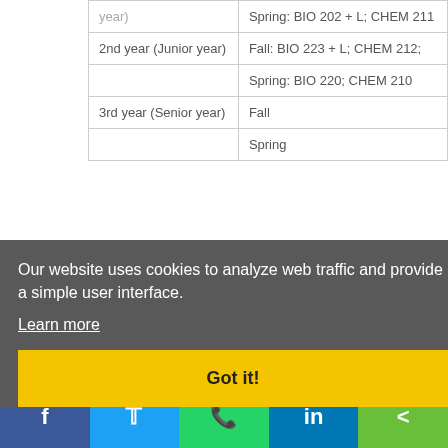| (year) | Spring: BIO 202 + L; CHEM 211 |
| 2nd year (Junior year) | Fall: BIO 223 + L; CHEM 212; |
|  | Spring: BIO 220; CHEM 210 |
| 3rd year (Senior year) | Fall |
|  | Spring |
Our website uses cookies to analyze web traffic and provide a simple user interface.
Learn more
Got it!